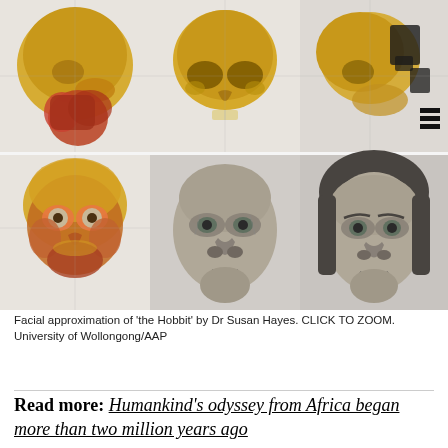[Figure (photo): Six-panel composite image showing facial approximation of 'the Hobbit' (Homo floresiensis) by Dr Susan Hayes. Top row: side profile view of skull with muscle overlay (gold/red), front view of bare skull (gold), side view of skull fragments (gold/black and white). Bottom row: front view of skull with full muscle/tissue overlay (gold/red/orange), grey-toned facial reconstruction without hair (front view), grey-toned facial reconstruction with hair (front view).]
Facial approximation of 'the Hobbit' by Dr Susan Hayes. CLICK TO ZOOM. University of Wollongong/AAP
Read more: Humankind's odyssey from Africa began more than two million years ago